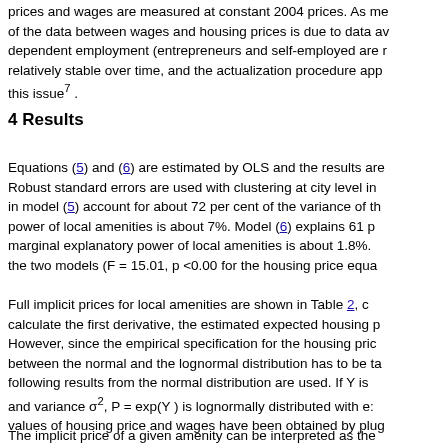prices and wages are measured at constant 2004 prices. As me of the data between wages and housing prices is due to data av dependent employment (entrepreneurs and self-employed are r relatively stable over time, and the actualization procedure app this issue⁷ .
4 Results
Equations (5) and (6) are estimated by OLS and the results are Robust standard errors are used with clustering at city level in in model (5) account for about 72 per cent of the variance of th power of local amenities is about 7%. Model (6) explains 61 p marginal explanatory power of local amenities is about 1.8%. the two models (F = 15.01, p <0.00 for the housing price equa
Full implicit prices for local amenities are shown in Table 2, c calculate the first derivative, the estimated expected housing p However, since the empirical specification for the housing pric between the normal and the lognormal distribution has to be ta following results from the normal distribution are used. If Y is and variance σ², P = exp(Y ) is lognormally distributed with e: values of housing price and wages have been obtained by plug
The implicit price of a given amenity can be interpreted as the